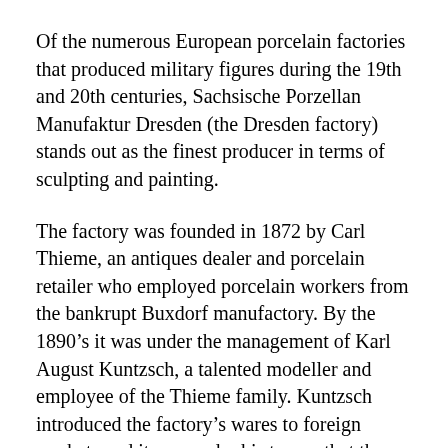Of the numerous European porcelain factories that produced military figures during the 19th and 20th centuries, Sachsische Porzellan Manufaktur Dresden (the Dresden factory) stands out as the finest producer in terms of sculpting and painting.
The factory was founded in 1872 by Carl Thieme, an antiques dealer and porcelain retailer who employed porcelain workers from the bankrupt Buxdorf manufactory. By the 1890’s it was under the management of Karl August Kuntzsch, a talented modeller and employee of the Thieme family. Kuntzsch introduced the factory’s wares to foreign markets and it was under his tenure that the production of military figures began in 1912, with the series of French Napoleonic subjects, the first of these being an equestrian figure of Napoleon (an example of which may be seen at Winston Churchill's former home, Chartwell in Kent). However, owing to the antipathy between France